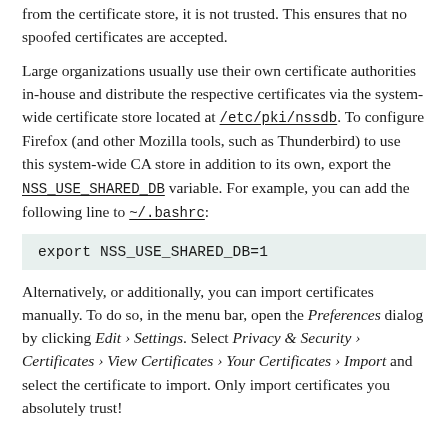from the certificate store, it is not trusted. This ensures that no spoofed certificates are accepted.
Large organizations usually use their own certificate authorities in-house and distribute the respective certificates via the system-wide certificate store located at /etc/pki/nssdb. To configure Firefox (and other Mozilla tools, such as Thunderbird) to use this system-wide CA store in addition to its own, export the NSS_USE_SHARED_DB variable. For example, you can add the following line to ~/.bashrc:
export NSS_USE_SHARED_DB=1
Alternatively, or additionally, you can import certificates manually. To do so, in the menu bar, open the Preferences dialog by clicking Edit › Settings. Select Privacy & Security › Certificates › View Certificates › Your Certificates › Import and select the certificate to import. Only import certificates you absolutely trust!